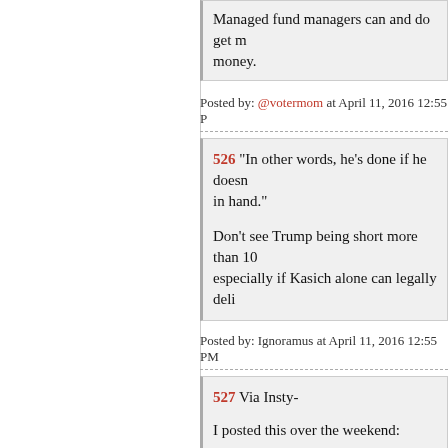Managed fund managers can and do get money.
Posted by: @votermom at April 11, 2016 12:55 P
526 "In other words, he's done if he doesn't have it in hand."
Don't see Trump being short more than 10, especially if Kasich alone can legally deli
Posted by: Ignoramus at April 11, 2016 12:55 PM
527 Via Insty-
I posted this over the weekend:
https://joannenosuchinsky.com/2016/04/0
cousin-donny/
I still think it's the best read on Trump and Plus, it's short and to the point.
Plus, it uses a great movie as an analogy, s